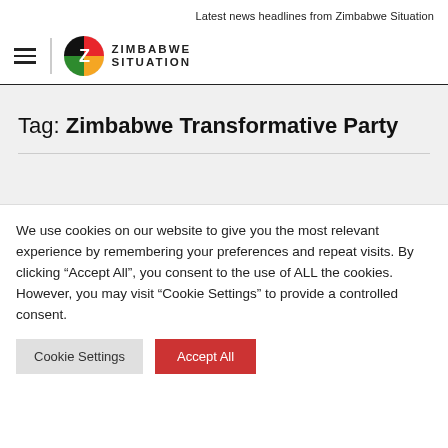Latest news headlines from Zimbabwe Situation
[Figure (logo): Zimbabwe Situation logo with hamburger menu icon, circular Z logo in red/green/yellow/black colors, and ZIMBABWE SITUATION text]
Tag: Zimbabwe Transformative Party
We use cookies on our website to give you the most relevant experience by remembering your preferences and repeat visits. By clicking “Accept All”, you consent to the use of ALL the cookies. However, you may visit "Cookie Settings" to provide a controlled consent.
Cookie Settings | Accept All